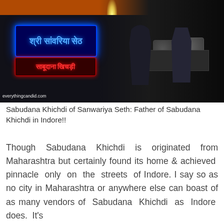[Figure (photo): Night scene of a street food stall in Indore, India. A dark market scene with neon signs in Hindi script — a blue neon sign at top reading Sanwariya Seth and a red neon sign below. Two people are visible at the counter with large cooking pots. The atmosphere is dark with colored neon lighting. Watermark reads 'everythingcandid.com'.]
Sabudana Khichdi of Sanwariya Seth: Father of Sabudana Khichdi in Indore!!
Though Sabudana Khichdi is originated from Maharashtra but certainly found its home & achieved pinnacle only on the streets of Indore. I say so as no city in Maharashtra or anywhere else can boast of as many vendors of Sabudana Khichdi as Indore does. It's